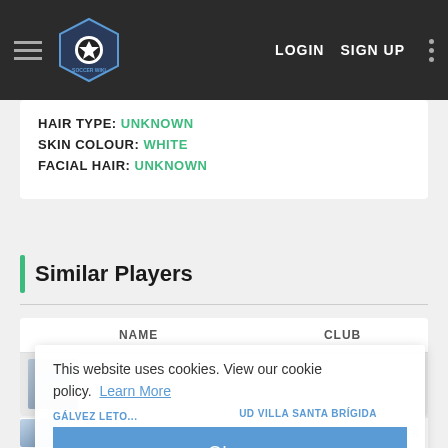Soccer Wiki — LOGIN  SIGN UP
HAIR TYPE: UNKNOWN
SKIN COLOUR: WHITE
FACIAL HAIR: UNKNOWN
Similar Players
| NAME | CLUB |
| --- | --- |
| GÁLVEZ LETO... | UD VILLA SANTA BRÍGIDA |
| VEGARD SKJORESTAD | BRYNE FK |
This website uses cookies. View our cookie policy.  Learn More
Okay